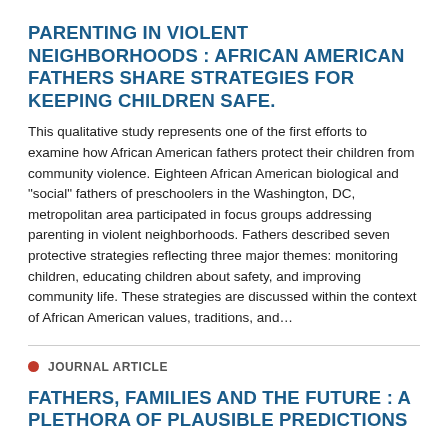PARENTING IN VIOLENT NEIGHBORHOODS : AFRICAN AMERICAN FATHERS SHARE STRATEGIES FOR KEEPING CHILDREN SAFE.
This qualitative study represents one of the first efforts to examine how African American fathers protect their children from community violence. Eighteen African American biological and "social" fathers of preschoolers in the Washington, DC, metropolitan area participated in focus groups addressing parenting in violent neighborhoods. Fathers described seven protective strategies reflecting three major themes: monitoring children, educating children about safety, and improving community life. These strategies are discussed within the context of African American values, traditions, and…
● JOURNAL ARTICLE
FATHERS, FAMILIES AND THE FUTURE : A PLETHORA OF PLAUSIBLE PREDICTIONS